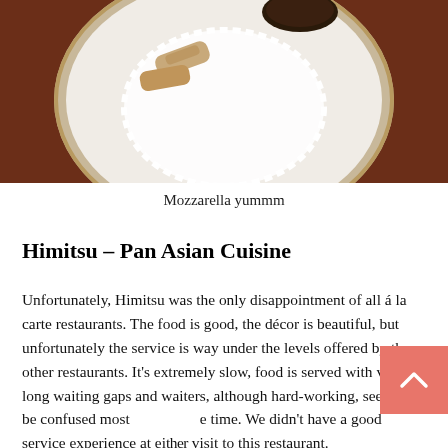[Figure (photo): Overhead photo of a white plate with doily and bread/biscotti pieces, on a dark reddish-brown tablecloth background]
Mozzarella yummm
Himitsu – Pan Asian Cuisine
Unfortunately, Himitsu was the only disappointment of all á la carte restaurants. The food is good, the décor is beautiful, but unfortunately the service is way under the levels offered by the other restaurants. It's extremely slow, food is served with very long waiting gaps and waiters, although hard-working, seem to be confused most of the time. We didn't have a good service experience at either visit to this restaurant.